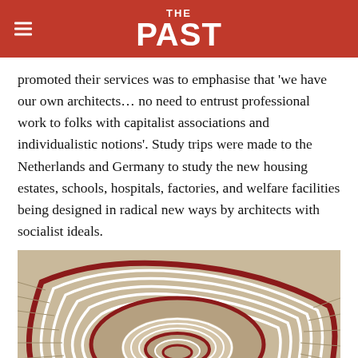THE PAST
promoted their services was to emphasise that 'we have our own architects… no need to entrust professional work to folks with capitalist associations and individualistic notions'. Study trips were made to the Netherlands and Germany to study the new housing estates, schools, hospitals, factories, and welfare facilities being designed in radical new ways by architects with socialist ideals.
[Figure (photo): Overhead view looking down a spiral staircase with cream/beige steps, dark red handrail, and white metal balusters arranged in concentric curved landings.]